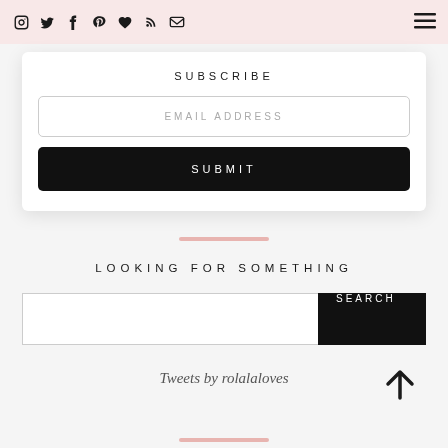Social media icons: Instagram, Twitter, Facebook, Pinterest, Heart, RSS, Email | Hamburger menu
SUBSCRIBE
EMAIL ADDRESS
SUBMIT
LOOKING FOR SOMETHING
SEARCH
Tweets by rolalaloves